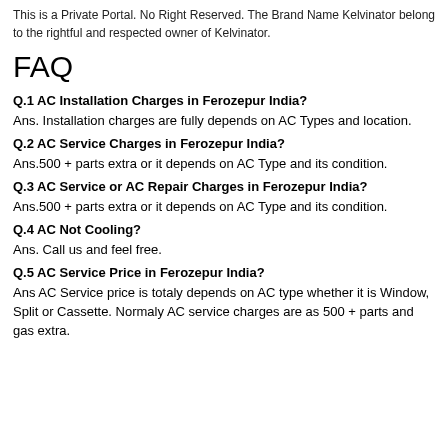This is a Private Portal. No Right Reserved. The Brand Name Kelvinator belong to the rightful and respected owner of Kelvinator.
FAQ
Q.1 AC Installation Charges in Ferozepur India?
Ans. Installation charges are fully depends on AC Types and location.
Q.2 AC Service Charges in Ferozepur India?
Ans.500 + parts extra or it depends on AC Type and its condition.
Q.3 AC Service or AC Repair Charges in Ferozepur India?
Ans.500 + parts extra or it depends on AC Type and its condition.
Q.4 AC Not Cooling?
Ans. Call us and feel free.
Q.5 AC Service Price in Ferozepur India?
Ans AC Service price is totaly depends on AC type whether it is Window, Split or Cassette. Normaly AC service charges are as 500 + parts and gas extra.